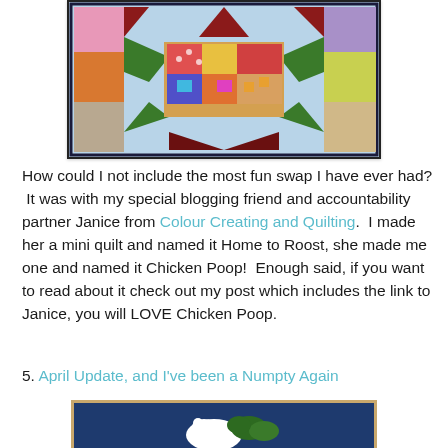[Figure (photo): A colorful patchwork quilt block featuring a star pattern made from various fabric patterns including red, blue, green, orange, and multicolored squares and triangles on a light blue background.]
How could I not include the most fun swap I have ever had?  It was with my special blogging friend and accountability partner Janice from Colour Creating and Quilting.  I made her a mini quilt and named it Home to Roost, she made me one and named it Chicken Poop!  Enough said, if you want to read about it check out my post which includes the link to Janice, you will LOVE Chicken Poop.
5. April Update, and I've been a Numpty Again
[Figure (photo): A textile or embroidered piece showing a white bird (possibly a chicken or hen) with green foliage/feathers on a dark navy blue background with a tan/beige border.]